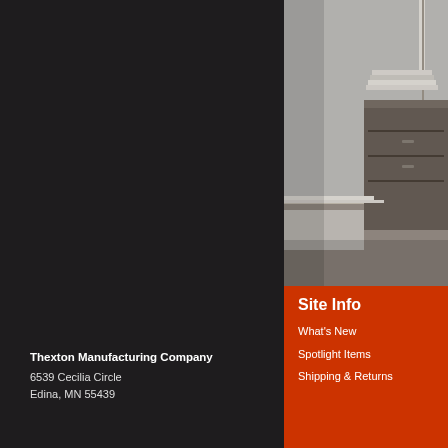[Figure (photo): Vintage black and white photograph of an office desk scene with stacked papers and a wooden filing cabinet or desk with drawers]
Thexton Manufacturing Company
6539 Cecilia Circle
Edina, MN 55439
Site Info
What's New
Spotlight Items
Shipping & Returns